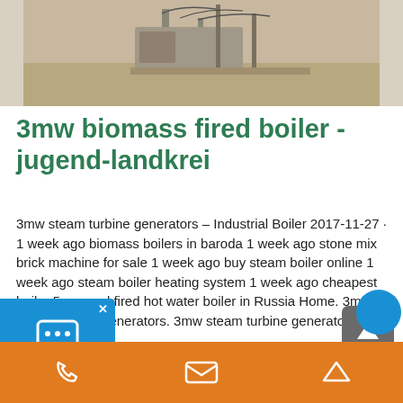[Figure (photo): Photograph of industrial boiler or machinery equipment, partially visible at top of page]
3mw biomass fired boiler - jugend-landkrei
3mw steam turbine generators – Industrial Boiler 2017-11-27 · 1 week ago biomass boilers in baroda 1 week ago stone mix brick machine for sale 1 week ago buy steam boiler online 1 week ago steam boiler heating system 1 week ago cheapest boiler 5mw coal fired hot water boiler in Russia Home. 3mw steam turbine generators. 3mw steam turbine generators.